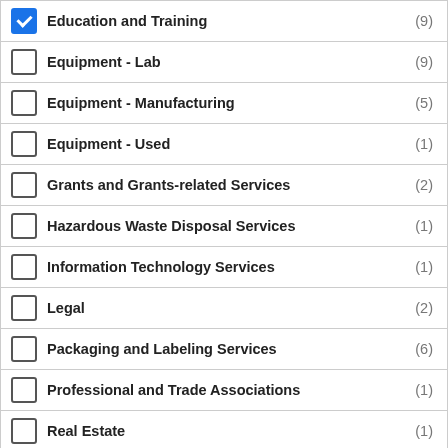Education and Training (9)
Equipment - Lab (9)
Equipment - Manufacturing (5)
Equipment - Used (1)
Grants and Grants-related Services (2)
Hazardous Waste Disposal Services (1)
Information Technology Services (1)
Legal (2)
Packaging and Labeling Services (6)
Professional and Trade Associations (1)
Real Estate (1)
Staffing (1)
Statistics and Data Management (1)
Supply Chain Services (5)